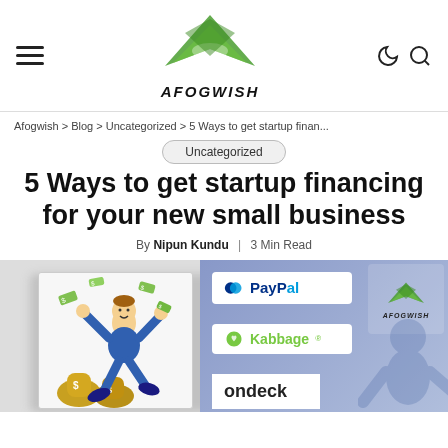Afogwish logo header with hamburger menu and search/moon icons
Afogwish > Blog > Uncategorized > 5 Ways to get startup finan...
Uncategorized
5 Ways to get startup financing for your new small business
By Nipun Kundu | 3 Min Read
[Figure (illustration): Composite article image: left side shows cartoon man jumping joyfully over bags of money; right side shows logos of PayPal, Kabbage, and OnDeck on a blue background with Afogwish logo overlay]